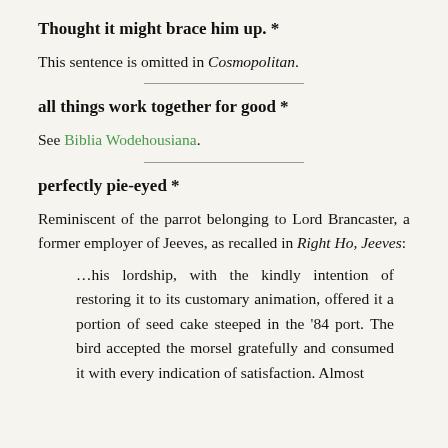Thought it might brace him up. *
This sentence is omitted in Cosmopolitan.
all things work together for good *
See Biblia Wodehousiana.
perfectly pie-eyed *
Reminiscent of the parrot belonging to Lord Brancaster, a former employer of Jeeves, as recalled in Right Ho, Jeeves:
…his lordship, with the kindly intention of restoring it to its customary animation, offered it a portion of seed cake steeped in the '84 port. The bird accepted the morsel gratefully and consumed it with every indication of satisfaction. Almost